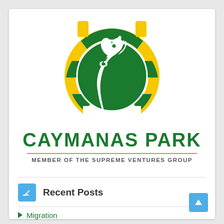[Figure (logo): Caymanas Park logo: a green circle with a white horse head silhouette, surrounded by a yellow and green segmented horseshoe shape]
CAYMANAS PARK
MEMBER OF THE SUPREME VENTURES GROUP
Recent Posts
Migration